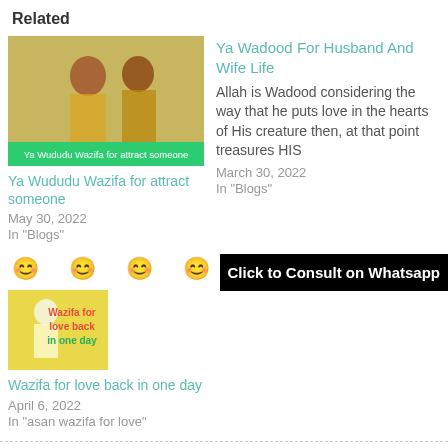Related
[Figure (photo): Photo of a woman in traditional Indian attire with overlay text 'Ya Wududu Wazifa for attract someone' in green bar]
Ya Wududu Wazifa for attract someone
May 30, 2022
In "Blogs"
Ya Wadood For Husband And Wife Life
Allah is Wadood considering the way that he puts love in the hearts of His creature then, at that point treasures HIS
March 30, 2022
In "Blogs"
[Figure (photo): Photo thumbnail of couple with overlay text 'Wazifa for love back in one day' in red and green]
Wazifa for love back in one day
April 6, 2022
In "asan wazifa for love"
HOW TO BRING BACK LOST LOVE IN A